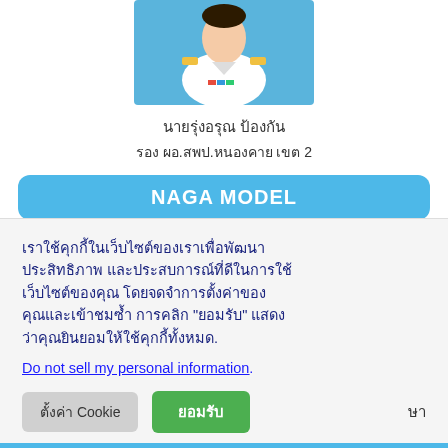[Figure (photo): Portrait photo of a Thai government official in white military-style uniform with gold epaulettes and ribbons]
นายรุ่งอรุณ ป้องกัน
รอง ผอ.สพป.หนองคาย เขต 2
NAGA MODEL
เราใช้คุกกี้ในเว็บไซต์ของเราเพื่อพัฒนาประสิทธิภาพ และประสบการณ์ที่ดีในการใช้เว็บไซต์ของคุณ โดยจดจำการตั้งค่าของคุณและเข้าชมซ้ำ การคลิก "ยอมรับ" แสดงว่าคุณยินยอมให้ใช้คุกกี้ทั้งหมด.
Do not sell my personal information.
ตั้งค่า Cookie
ยอมรับ
ษา
ดูผู้ดูแลระบบ&YOUTUBE CHANNEL